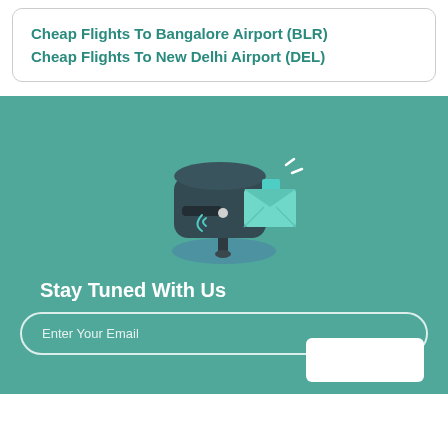Cheap Flights To Bangalore Airport (BLR)
Cheap Flights To New Delhi Airport (DEL)
[Figure (illustration): Isometric illustration of a mailbox with an envelope being delivered, on a teal background with motion lines]
Stay Tuned With Us
Enter Your Email